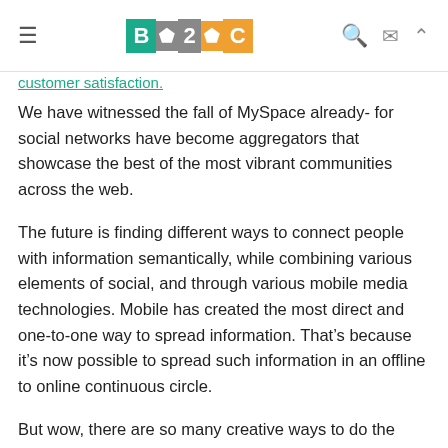≡  B2C  🔍 ✉ ∧
customer satisfaction.
We have witnessed the fall of MySpace already- for social networks have become aggregators that showcase the best of the most vibrant communities across the web.
The future is finding different ways to connect people with information semantically, while combining various elements of social, and through various mobile media technologies. Mobile has created the most direct and one-to-one way to spread information. That's because it's now possible to spread such information in an offline to online continuous circle.
But wow, there are so many creative ways to do the latter. If Google + can figure out some more of those creative ways with their platform, maybe, just maybe will they be